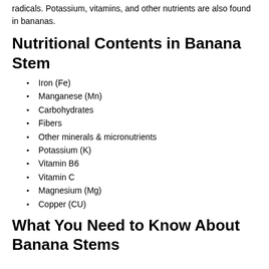radicals. Potassium, vitamins, and other nutrients are also found in bananas.
Nutritional Contents in Banana Stem
Iron (Fe)
Manganese (Mn)
Carbohydrates
Fibers
Other minerals & micronutrients
Potassium (K)
Vitamin B6
Vitamin C
Magnesium (Mg)
Copper (CU)
What You Need to Know About Banana Stems